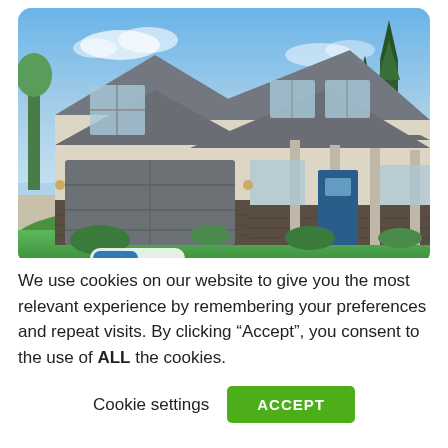[Figure (photo): Exterior photo of a two-story craftsman-style house with gray roof, beige/tan siding, dark stone veneer at the base, large double garage door, blue front door, covered porch with columns, green lawn, and trees under a blue sky.]
We use cookies on our website to give you the most relevant experience by remembering your preferences and repeat visits. By clicking “Accept”, you consent to the use of ALL the cookies.
Cookie settings   ACCEPT